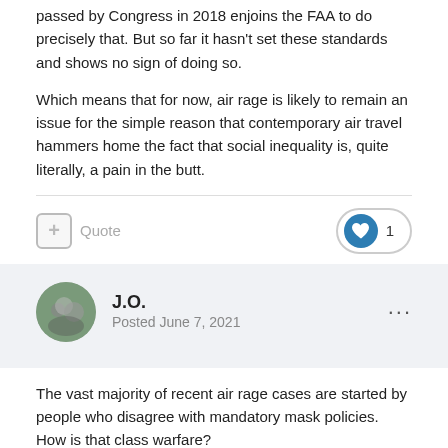passed by Congress in 2018 enjoins the FAA to do precisely that. But so far it hasn't set these standards and shows no sign of doing so.
Which means that for now, air rage is likely to remain an issue for the simple reason that contemporary air travel hammers home the fact that social inequality is, quite literally, a pain in the butt.
J.O.
Posted June 7, 2021
The vast majority of recent air rage cases are started by people who disagree with mandatory mask policies. How is that class warfare?